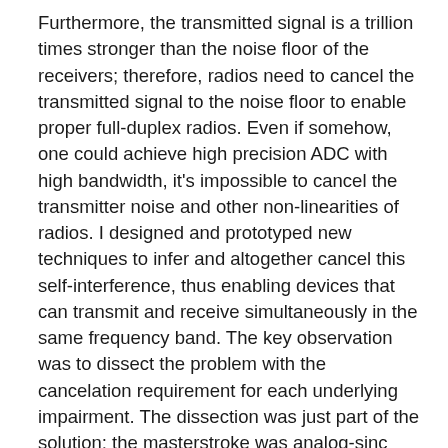Furthermore, the transmitted signal is a trillion times stronger than the noise floor of the receivers; therefore, radios need to cancel the transmitted signal to the noise floor to enable proper full-duplex radios. Even if somehow, one could achieve high precision ADC with high bandwidth, it's impossible to cancel the transmitter noise and other non-linearities of radios. I designed and prototyped new techniques to infer and altogether cancel this self-interference, thus enabling devices that can transmit and receive simultaneously in the same frequency band. The key observation was to dissect the problem with the cancelation requirement for each underlying impairment. The dissection was just part of the solution; the masterstroke was analog-sinc interpolation filter design, which allowed the cancellation to re-create self-interference accurately and cancel it. The sinc-interpolation techniques are well known for digital signals. Their extension to analog signals was never thought of; my work builds an analog sinc interpolation technique,